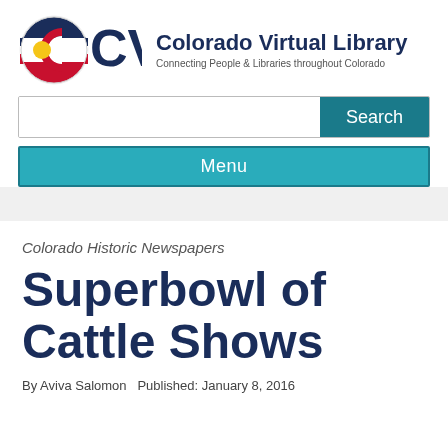[Figure (logo): Colorado Virtual Library (CVL) logo with Colorado state flag circle icon on the left, and text 'Colorado Virtual Library' in bold dark blue with subtitle 'Connecting People & Libraries throughout Colorado']
[Figure (screenshot): Search bar with text input field and teal 'Search' button]
[Figure (screenshot): Teal 'Menu' navigation bar button]
Colorado Historic Newspapers
Superbowl of Cattle Shows
By Aviva Salomon  Published: January 8, 2016